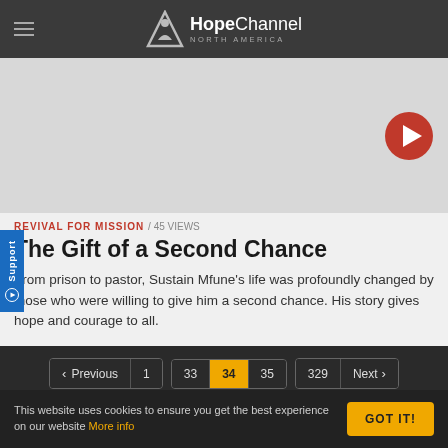[Figure (logo): Hope Channel North America logo with stylized person icon]
[Figure (screenshot): Video thumbnail area with red play button, light gray background]
REVIVAL FOR MISSION / 45 VIEWS
The Gift of a Second Chance
From prison to pastor, Sustain Mfune’s life was profoundly changed by those who were willing to give him a second chance. His story gives hope and courage to all.
< Previous  1  ...  33  34  35  ...  329  Next >
This website uses cookies to ensure you get the best experience on our website More info
GOT IT!